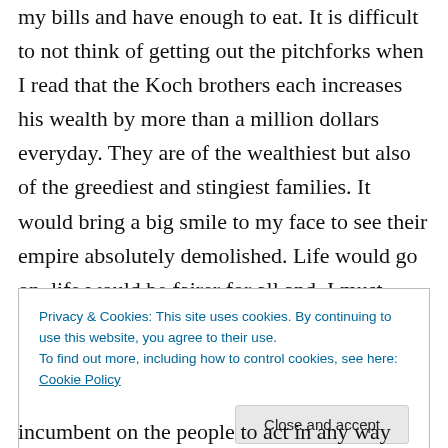my bills and have enough to eat. It is difficult to not think of getting out the pitchforks when I read that the Koch brothers each increases his wealth by more than a million dollars everyday. They are of the wealthiest but also of the greediest and stingiest families. It would bring a big smile to my face to see their empire absolutely demolished. Life would go on, life would be fairer for all and, I must admit, I would take great pleasure in their downfall. Note that I am speaking specifically about the Koch brothers.
Privacy & Cookies: This site uses cookies. By continuing to use this website, you agree to their use.
To find out more, including how to control cookies, see here: Cookie Policy
incumbent on the people to act in any way they